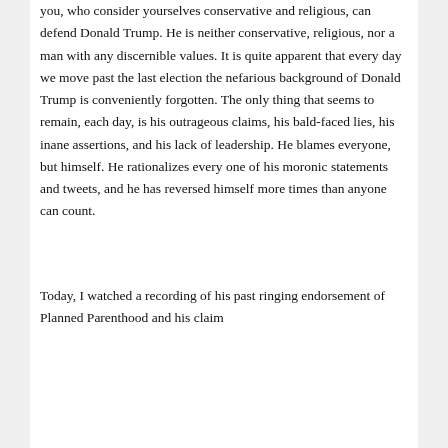you, who consider yourselves conservative and religious, can defend Donald Trump. He is neither conservative, religious, nor a man with any discernible values. It is quite apparent that every day we move past the last election the nefarious background of Donald Trump is conveniently forgotten. The only thing that seems to remain, each day, is his outrageous claims, his bald-faced lies, his inane assertions, and his lack of leadership. He blames everyone, but himself. He rationalizes every one of his moronic statements and tweets, and he has reversed himself more times than anyone can count.
Today, I watched a recording of his past ringing endorsement of Planned Parenthood and his claim